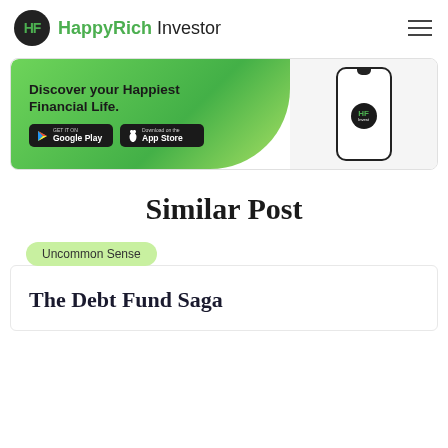HappyRich Investor
[Figure (infographic): HappyRich Invest app advertisement banner with green gradient background. Text: 'Discover your Happiest Financial Life.' with Google Play and App Store download buttons. Right side shows phone with HF Invest logo.]
Similar Post
Uncommon Sense
The Debt Fund Saga